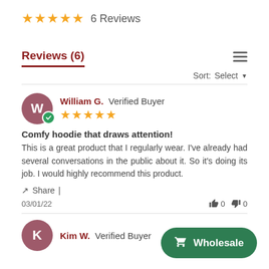★★★★★ 6 Reviews
Reviews (6)
Sort: Select
William G. Verified Buyer ★★★★★
Comfy hoodie that draws attention!
This is a great product that I regularly wear. I've already had several conversations in the public about it. So it's doing its job. I would highly recommend this product.
Share |
03/01/22  👍 0  👎 0
Kim W. Verified Buyer